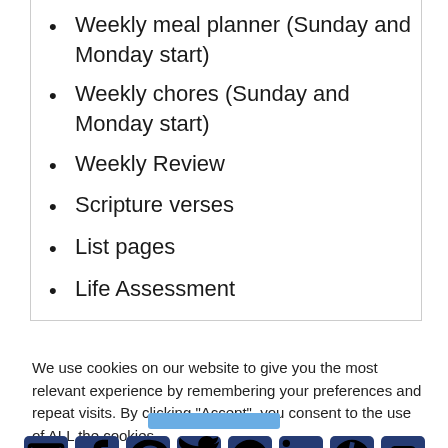Weekly meal planner (Sunday and Monday start)
Weekly chores (Sunday and Monday start)
Weekly Review
Scripture verses
List pages
Life Assessment
We use cookies on our website to give you the most relevant experience by remembering your preferences and repeat visits. By clicking “Accept”, you consent to the use of ALL the cookies.